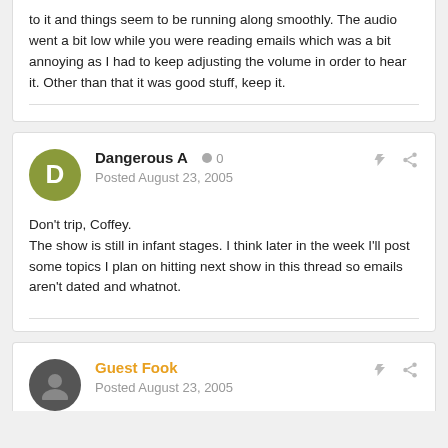to it and things seem to be running along smoothly. The audio went a bit low while you were reading emails which was a bit annoying as I had to keep adjusting the volume in order to hear it. Other than that it was good stuff, keep it.
Dangerous A • 0
Posted August 23, 2005
Don't trip, Coffey.
The show is still in infant stages. I think later in the week I'll post some topics I plan on hitting next show in this thread so emails aren't dated and whatnot.
Guest Fook
Posted August 23, 2005